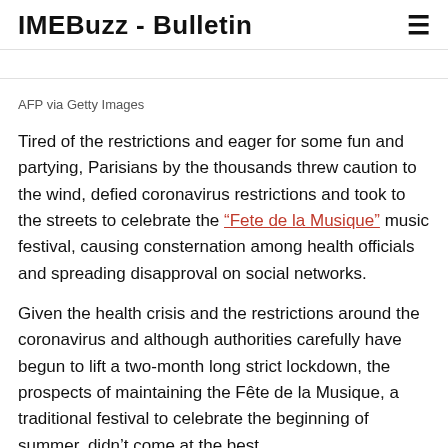IMEBuzz - Bulletin
AFP via Getty Images
Tired of the restrictions and eager for some fun and partying, Parisians by the thousands threw caution to the wind, defied coronavirus restrictions and took to the streets to celebrate the “Fete de la Musique” music festival, causing consternation among health officials and spreading disapproval on social networks.
Given the health crisis and the restrictions around the coronavirus and although authorities carefully have begun to lift a two-month long strict lockdown, the prospects of maintaining the Fête de la Musique, a traditional festival to celebrate the beginning of summer, didn’t come at the best...